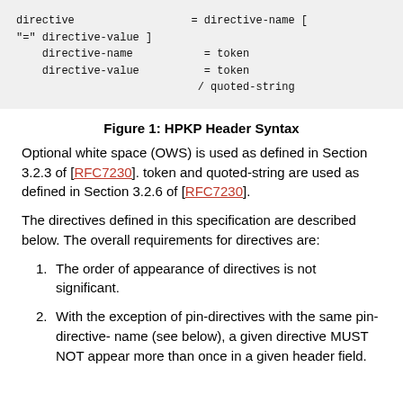Figure 1: HPKP Header Syntax
Optional white space (OWS) is used as defined in Section 3.2.3 of [RFC7230]. token and quoted-string are used as defined in Section 3.2.6 of [RFC7230].
The directives defined in this specification are described below. The overall requirements for directives are:
The order of appearance of directives is not significant.
With the exception of pin-directives with the same pin-directive- name (see below), a given directive MUST NOT appear more than once in a given header field.